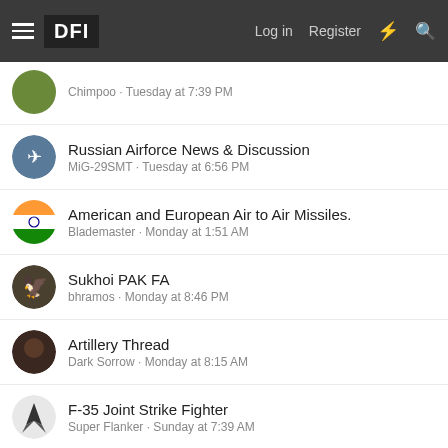DFI — Log in  Register
Chimpoo · Tuesday at 7:39 PM
Russian Airforce News & Discussion
MiG-29SMT · Tuesday at 6:56 PM
American and European Air to Air Missiles.
Blademaster · Monday at 1:51 AM
Sukhoi PAK FA
bhramos · Monday at 8:46 PM
Artillery Thread
Dark Sorrow · Monday at 8:15 AM
F-35 Joint Strike Fighter
Super Flanker · Sunday at 7:39 AM
World Military/Paramilitary/Special Forces
SGOperative · Aug 15, 2022
New threads
Do Chinese Yuan Wang Class Spy ships Pose a Threat t…